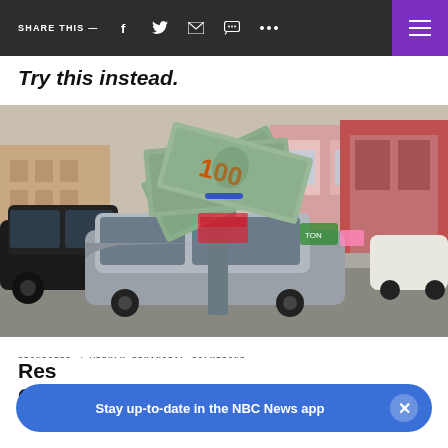SHARE THIS —
Try this instead.
[Figure (photo): Photograph of $100 dollar bills fanned out on top of a parking meter on a city street, with cars and colorful storefronts in the background.]
SPONSORED / WEEKLY FINANCIAL SOLUTIONS
Res... Cou... (partially visible article title)
Stay up-to-date in the NBC News app